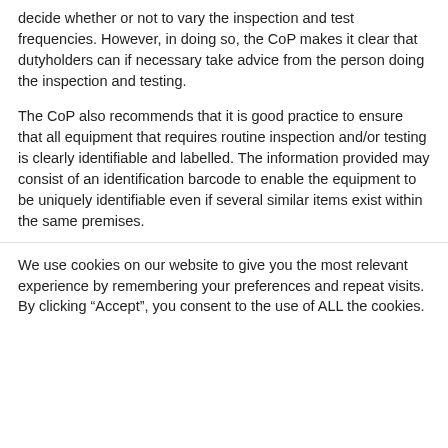decide whether or not to vary the inspection and test frequencies. However, in doing so, the CoP makes it clear that dutyholders can if necessary take advice from the person doing the inspection and testing.

The CoP also recommends that it is good practice to ensure that all equipment that requires routine inspection and/or testing is clearly identifiable and labelled. The information provided may consist of an identification barcode to enable the equipment to be uniquely identifiable even if several similar items exist within the same premises.
We use cookies on our website to give you the most relevant experience by remembering your preferences and repeat visits. By clicking “Accept”, you consent to the use of ALL the cookies.
[Figure (other): Schneider Electric advertisement banner: product image of modular data centre units on left, text reading 'What if your data centre could be designed constructed, and tested before it reaches your facility? Guess what, it can. Learn more about EcoStruxure Modular Data Centres?' with a Learn more button, and Schneider Electric 'Life is On' green branding panel on the right. A close button (X) appears in the top-right corner.]